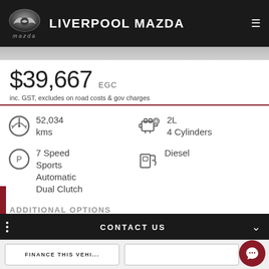LIVERPOOL MAZDA
[Figure (photo): Partial car image strip at top of listing]
$39,667 EGC
inc. GST, excludes on road costs & gov charges
52,034 kms
2L 4 Cylinders
7 Speed Sports Automatic Dual Clutch
Diesel
ADDITIONAL OPTIONS
CONTACT US
FINANCE THIS VEHI...